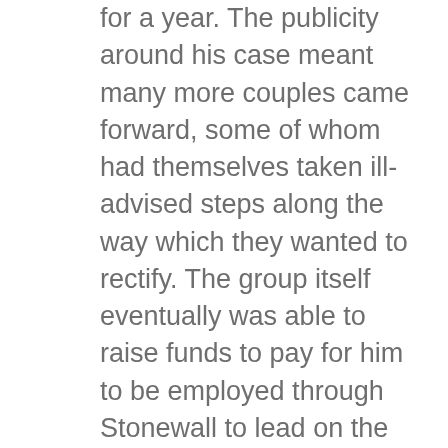for a year. The publicity around his case meant many more couples came forward, some of whom had themselves taken ill-advised steps along the way which they wanted to rectify. The group itself eventually was able to raise funds to pay for him to be employed through Stonewall to lead on the campaigning and lobbying. strategy and planning.
The monthly meetings outgrew their initial pub venues and grew and grew to the point where they were regularly attended by 200 and more, at one point taking place regularly in space large enough to accommodate such crowds in the Wigmore Hall complex before moving on to the University of London Union. These were people who, as a result of the group's efforts, had decided that they too wished to make or at least consider making applications based upon their genuine relationships notwithstanding the